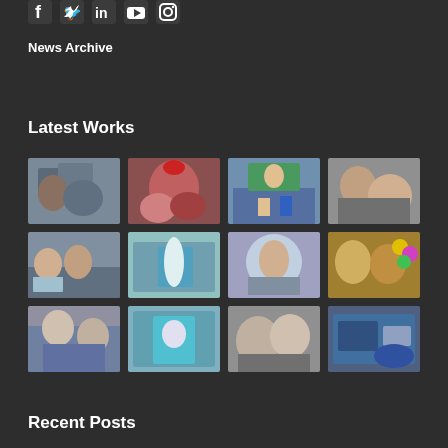[Figure (illustration): Social media icons: Facebook, Twitter, LinkedIn, YouTube, Instagram]
News Archive
Latest Works
[Figure (photo): 3x4 grid of 12 photos showing various scenes: medical/dental care, children with Santa, classroom scene, doctor with child, children at computers, office/clinic scenes, children with balloons, medical procedures, outdoor clinic, operating room scene, interior with machinery]
Recent Posts